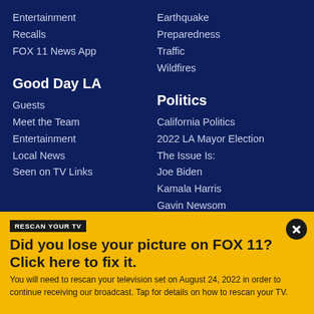Entertainment
Recalls
FOX 11 News App
Earthquake Preparedness
Traffic
Wildfires
Good Day LA
Guests
Meet the Team
Entertainment
Local News
Seen on TV Links
Politics
California Politics
2022 LA Mayor Election
The Issue Is:
Joe Biden
Kamala Harris
Gavin Newsom
RESCAN YOUR TV
Did you lose your picture on FOX 11? Click here to fix it.
You will need to rescan your television set on August 24, 2022 in order to continue receiving our broadcast. Tap for details on how to rescan your TV.